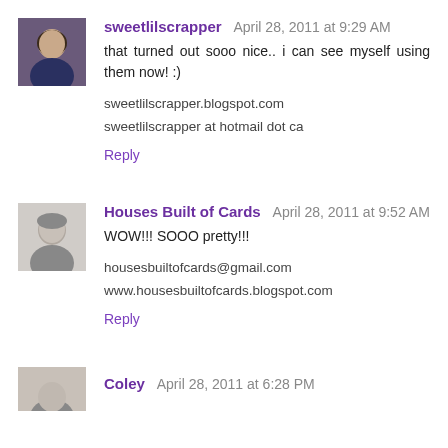[Figure (photo): Small circular/square avatar photo of a woman with dark hair]
sweetlilscrapper April 28, 2011 at 9:29 AM
that turned out sooo nice.. i can see myself using them now! :)
sweetlilscrapper.blogspot.com
sweetlilscrapper at hotmail dot ca
Reply
[Figure (photo): Small square avatar photo of a woman in black and white]
Houses Built of Cards April 28, 2011 at 9:52 AM
WOW!!! SOOO pretty!!!
housesbuiltofcards@gmail.com
www.housesbuiltofcards.blogspot.com
Reply
[Figure (photo): Partial small square avatar photo at bottom of page]
Coley April 28, 2011 at 6:28 PM